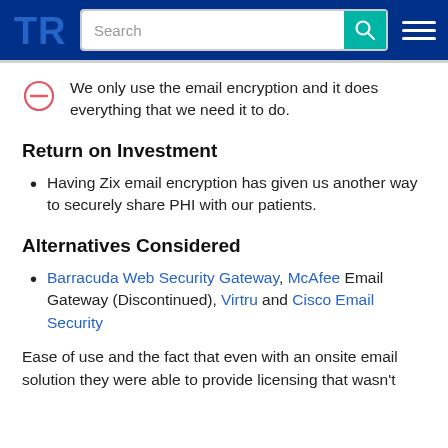TrustRadius navigation bar with search
We only use the email encryption and it does everything that we need it to do.
Return on Investment
Having Zix email encryption has given us another way to securely share PHI with our patients.
Alternatives Considered
Barracuda Web Security Gateway, McAfee Email Gateway (Discontinued), Virtru and Cisco Email Security
Ease of use and the fact that even with an onsite email solution they were able to provide licensing that wasn't